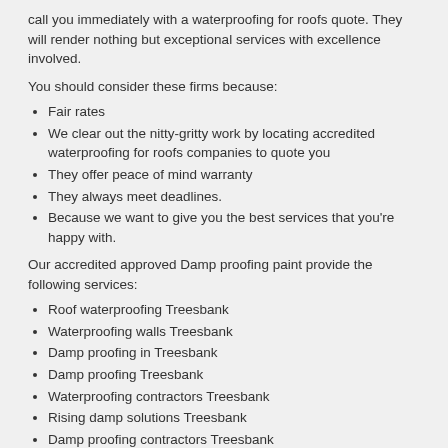call you immediately with a waterproofing for roofs quote. They will render nothing but exceptional services with excellence involved.
You should consider these firms because:
Fair rates
We clear out the nitty-gritty work by locating accredited waterproofing for roofs companies to quote you
They offer peace of mind warranty
They always meet deadlines.
Because we want to give you the best services that you're happy with.
Our accredited approved Damp proofing paint provide the following services:
Roof waterproofing Treesbank
Waterproofing walls Treesbank
Damp proofing in Treesbank
Damp proofing Treesbank
Waterproofing contractors Treesbank
Rising damp solutions Treesbank
Damp proofing contractors Treesbank
Damp proof Treesbank
Damp seal Treesbank
Damp Treesbank
Water proofing repairs Treesbank
Damp proofing installers Treesbank
Water proofing Treesbank